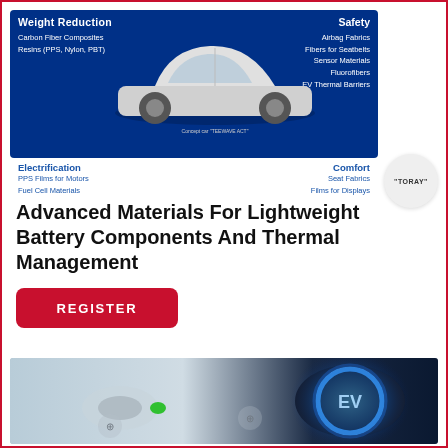[Figure (infographic): Toray automotive materials infographic showing a concept car (TEEWAVE ACT) in center with four application categories: Weight Reduction (Carbon Fiber Composites, Resins PPS/Nylon/PBT), Safety (Airbag Fabrics, Fibers for Seatbelts, Sensor Materials, Fluorofibers, EV Thermal Barriers), Electrification (PPS Films for Motors, Fuel Cell Materials), and Comfort (Seat Fabrics, Films for Displays). Toray logo badge at bottom right.]
Advanced Materials For Lightweight Battery Components And Thermal Management
[Figure (photo): Close-up photo of an electric vehicle charging port with blue LED ring lighting and EV label, showing charging connector being inserted.]